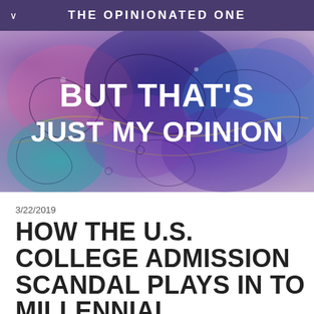THE OPINIONATED ONE
[Figure (illustration): Abstract watercolor background in purple, blue, magenta and teal tones with overlaid bold white text reading BUT THAT'S JUST MY OPINION]
3/22/2019
HOW THE U.S. COLLEGE ADMISSION SCANDAL PLAYS IN TO MILLENNIAL